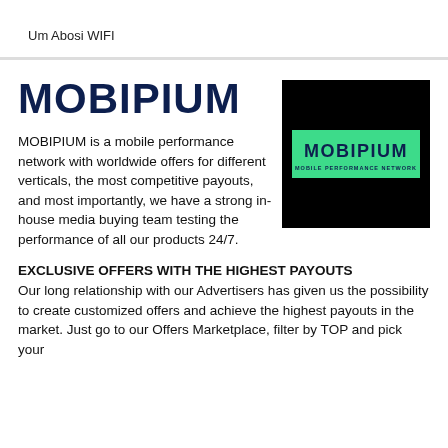Um Abosi WIFI
MOBIPIUM
[Figure (logo): MOBIPIUM logo: black square background with a green rectangle containing bold dark text 'MOBIPIUM' and smaller text 'MOBILE PERFORMANCE NETWORK']
MOBIPIUM is a mobile performance network with worldwide offers for different verticals, the most competitive payouts, and most importantly, we have a strong in-house media buying team testing the performance of all our products 24/7.
EXCLUSIVE OFFERS WITH THE HIGHEST PAYOUTS Our long relationship with our Advertisers has given us the possibility to create customized offers and achieve the highest payouts in the market. Just go to our Offers Marketplace, filter by TOP and pick your